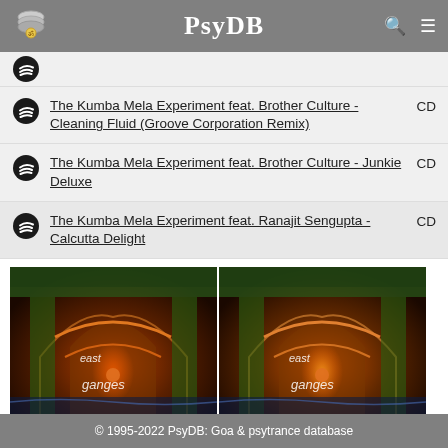PsyDB
The Kumba Mela Experiment feat. Brother Culture - Cleaning Fluid (Groove Corporation Remix)  CD
The Kumba Mela Experiment feat. Brother Culture - Junkie Deluxe  CD
The Kumba Mela Experiment feat. Ranajit Sengupta - Calcutta Delight  CD
[Figure (photo): Two album covers side by side for 'East Ganges' showing ornate temple arches with colorful mosaic decoration]
© 1995-2022 PsyDB: Goa & psytrance database